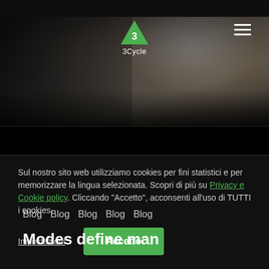[Figure (screenshot): Hero image of a music studio with a computer monitor showing audio software and a mixing board, taken in low light. Dark atmospheric photo with blurred elements.]
[Figure (logo): 3Cycle logo: green triangle with '3' inside and '3Cycle' text below]
Blog Blog Blog Blog Blog
Modes define man
Sul nostro sito web utilizziamo cookies per fini statistici e per memorizzare la lingua selezionata. Scopri di più su Privacy e Cookie policy. Cliccando "Accetto", acconsenti all'uso di TUTTI i cookies.
Impostazioni
Accetto